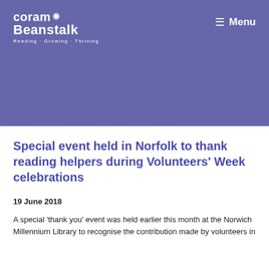coram Beanstalk Reading · Growing · Thriving
Special event held in Norfolk to thank reading helpers during Volunteers' Week celebrations
19 June 2018
A special 'thank you' event was held earlier this month at the Norwich Millennium Library to recognise the contribution made by volunteers in